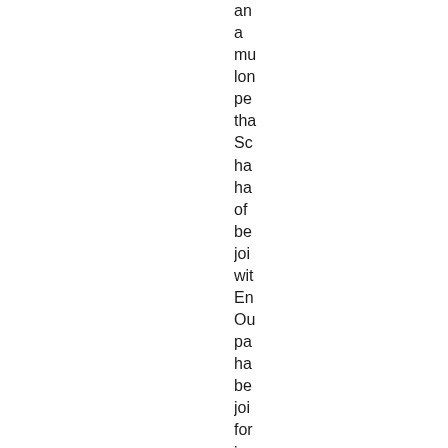an a mu lon pe tha Sc ha ha of be joi wit En Ou pa ha be joi for jus ov thr hu